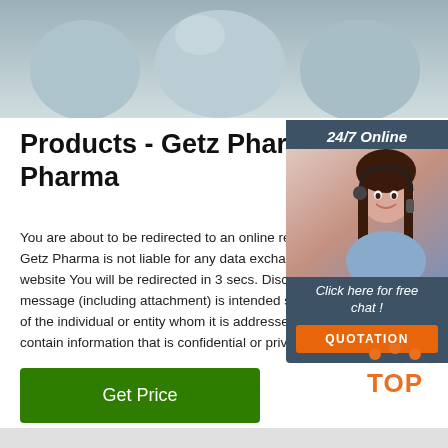[Figure (photo): Close-up photo of pharmaceutical capsules/pills in soft grey-blue light at top of page]
Products - Getz Pharma - G Pharma
You are about to be redirected to an online retail. Getz Pharma is not liable for any data exchange website You will be redirected in 3 secs. Disclaim message (including attachment) is intended sole of the individual or entity whom it is addressed a contain information that is confidential or privileg
[Figure (infographic): 24/7 Online chat widget overlay with customer service representative photo, 'Click here for free chat!' text, and orange QUOTATION button]
[Figure (other): Orange TOP icon with dots above text]
Get Price